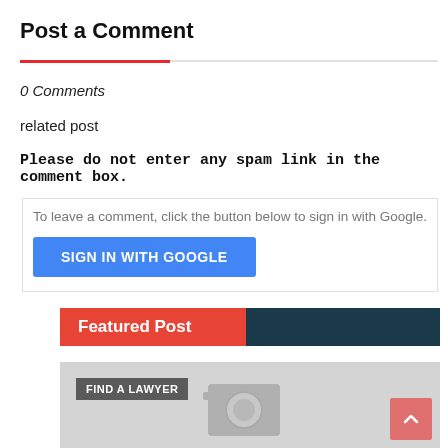Post a Comment
0 Comments
related post
Please do not enter any spam link in the comment box.
To leave a comment, click the button below to sign in with Google.
SIGN IN WITH GOOGLE
Featured Post
[Figure (screenshot): Gray placeholder image with camera icon and 'FIND A LAWYER' label tag]